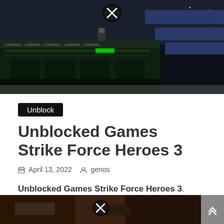[Figure (screenshot): Screenshot of a side-scrolling shooter game (Strike Force Heroes 3) with dark sci-fi platform levels, a close button (X) overlay at top center]
Unblock
Unblocked Games Strike Force Heroes 3
April 13, 2022  genos
Unblocked Games Strike Force Heroes 3. Strike force heroes, shooter, hacked key hacks: Strike force heroes 3 is the latest installment of strike force heroes series.
[Figure (screenshot): Partial screenshot of another game scene at the bottom of the page, with a close button (X) overlay, partially cut off]